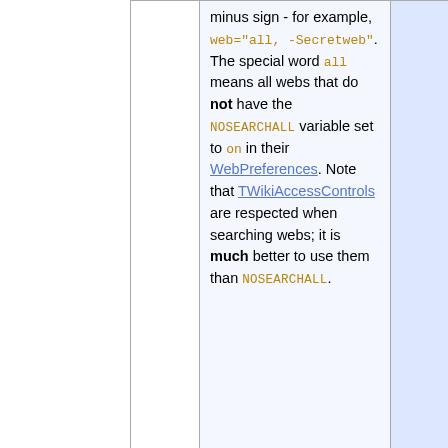|  | minus sign - for example, web="all, -Secretweb". The special word all means all webs that do not have the NOSEARCHALL variable set to on in their WebPreferences. Note that TWikiAccessControls are respected when searching webs; it is much better to use them than NOSEARCHALL. |  |
| topic="WebPreferences"
topic="*Bug" | Limit search to topics: A topic, a topic with asterisk wildcards, or a list of topics separated by | All to |